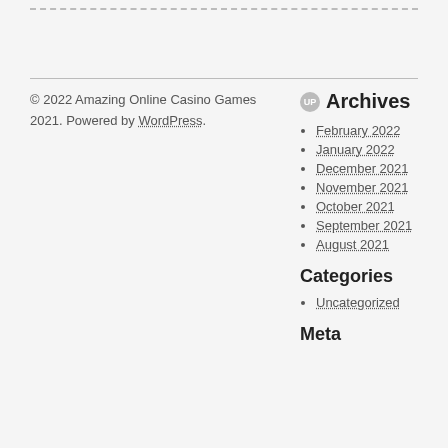© 2022 Amazing Online Casino Games 2021. Powered by WordPress.
Archives
February 2022
January 2022
December 2021
November 2021
October 2021
September 2021
August 2021
Categories
Uncategorized
Meta